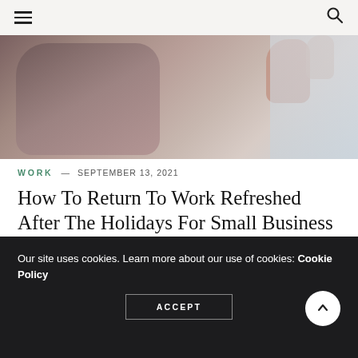≡  🔍
[Figure (photo): Close-up photo of a person wearing a brown/mauve turtleneck sweater, with their hand raised near their face, and a blurred background.]
WORK — SEPTEMBER 13, 2021
How To Return To Work Refreshed After The Holidays For Small Business Owners
How To Return To Work Feeling Refreshed After The Holidays For Small Business Owners  After holidays, returning to work can be pretty overwhelming, tiring or outright frustrating. Having time away from…
Our site uses cookies. Learn more about our use of cookies: Cookie Policy
ACCEPT